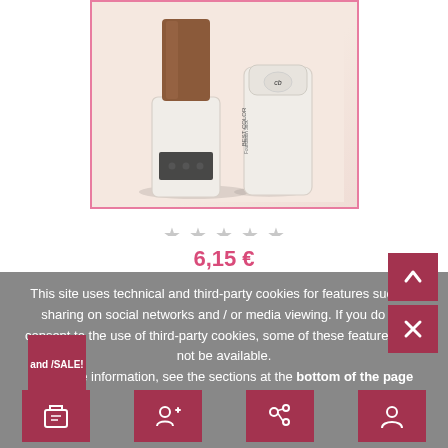[Figure (photo): Product photo of Best Color Fondotinta stick foundation in shade N 04, showing the stick extended out of its white cylindrical cap/container, with a pink border frame and soft pinkish background.]
★ ★ ★ ★ ★
Best Color Fondotinta stick N 04
6,15 €
This site uses technical and third-party cookies for features such as sharing on social networks and / or media viewing. If you do not consent to the use of third-party cookies, some of these features may not be available. For more information, see the sections at the bottom of the page